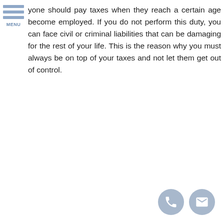[Figure (other): Hamburger menu icon with three horizontal blue-grey bars and MENU label below]
yone should pay taxes when they reach a certain age become employed. If you do not perform this duty, you can face civil or criminal liabilities that can be damaging for the rest of your life. This is the reason why you must always be on top of your taxes and not let them get out of control.
[Figure (other): Two circular contact icons: a phone icon and an email/envelope icon, both in blue-grey]